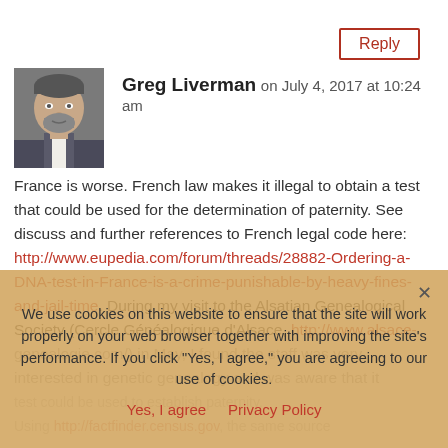Reply
[Figure (photo): Avatar photo of Greg Liverman — man with beard in suit]
Greg Liverman on July 4, 2017 at 10:24 am
France is worse. French law makes it illegal to obtain a test that could be used for the determination of paternity. See discuss and further references to French legal code here: http://www.eupedia.com/forum/threads/28882-Ordering-a-DNA-test-in-France-is-a-crime-punishable-by-heavy-fines-and-jail-time. During my visit to the Alsatian Genealogical Society (Cercle Généalogique d'Alsace, http://www.alsace-genealogie.com/) in May, I found the staff was very interested in genetic genealogy and was aware that it test could be used to establish paternity. Using http://factfinder.census.gov, the same source
We use cookies on this website to ensure that the site will work properly on your web browser together with improving the site's performance. If you click "Yes, I agree," you are agreeing to our use of cookies.
Yes, I agree   Privacy Policy